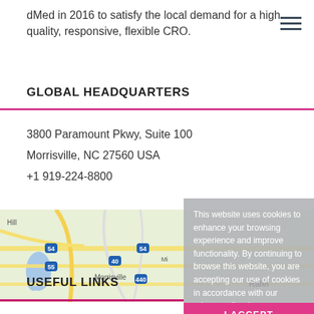dMed in 2016 to satisfy the local demand for a high quality, responsive, flexible CRO.
GLOBAL HEADQUARTERS
3800 Paramount Pkwy, Suite 100
Morrisville, NC 27560 USA
+1 919-224-8800
[Figure (map): Google map showing Morrisville, NC area with roads and landmarks including Cary and Raleigh]
This website uses cookies to enhance your browsing experience and improve functionality. By continuing to browse this website, you are accepting our use of cookies in accordance with our privacy policy. Learn more.
I ACCEPT
USEFUL LINKS